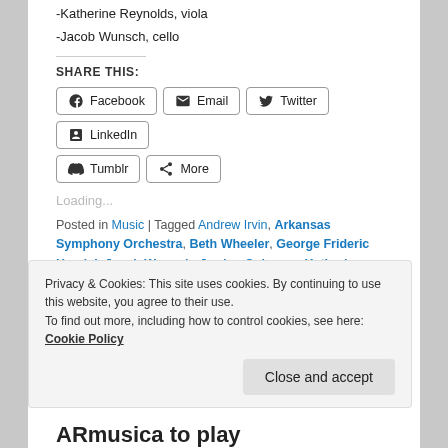-Katherine Reynolds, viola
-Jacob Wunsch, cello
SHARE THIS:
Facebook  Email  Twitter  LinkedIn  Tumblr  More
Loading...
Posted in Music | Tagged Andrew Irvin, Arkansas Symphony Orchestra, Beth Wheeler, George Frideric Handel, Jacob Wunsch, Jordan Coleman, Katherine
Privacy & Cookies: This site uses cookies. By continuing to use this website, you agree to their use. To find out more, including how to control cookies, see here: Cookie Policy
Close and accept
ARmusica to play